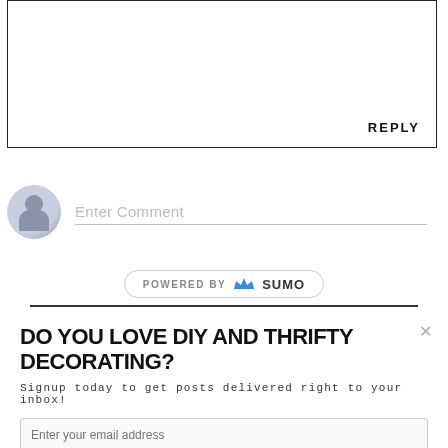[Figure (screenshot): Reply text box with border and REPLY button at bottom right]
[Figure (screenshot): Comment input field with user avatar icon and Enter Comment placeholder text]
[Figure (logo): POWERED BY SUMO badge with crown icon]
DO YOU LOVE DIY AND THRIFTY DECORATING?
Signup today to get posts delivered right to your inbox!
[Figure (screenshot): Email address input field with placeholder Enter your email address]
[Figure (screenshot): Subscribe Now button in light teal color]